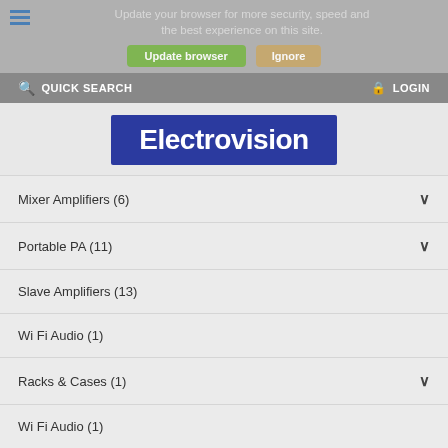Update your browser for more security, speed and the best experience on this site.
QUICK SEARCH  LOGIN
[Figure (logo): Electrovision logo: white bold text on dark blue/navy rectangle background]
Mixer Amplifiers (6)
Portable PA (11)
Slave Amplifiers (13)
Wi Fi Audio (1)
Racks & Cases (1)
Wi Fi Audio (1)
Brands